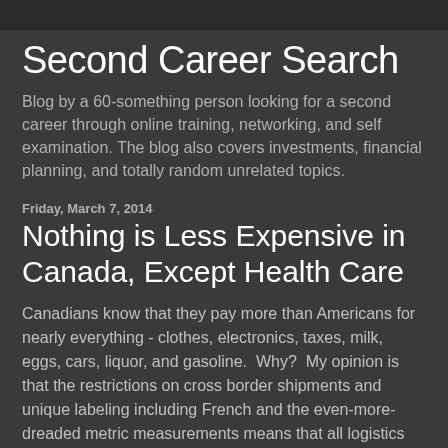Second Career Search
Blog by a 60-something person looking for a second career through online training, networking, and self examination. The blog also covers investments, financial planning, and totally random unrelated topics.
Friday, March 7, 2014
Nothing is Less Expensive in Canada, Except Health Care
Canadians know that they pay more than Americans for nearly everything - clothes, electronics, taxes, milk, eggs, cars, liquor, and gasoline.  Why?  My opinion is that the restrictions on cross border shipments and unique labeling including French and the even-more-dreaded metric measurements means that all logistics are within Canada.  This means that business cannot take advantage of the low